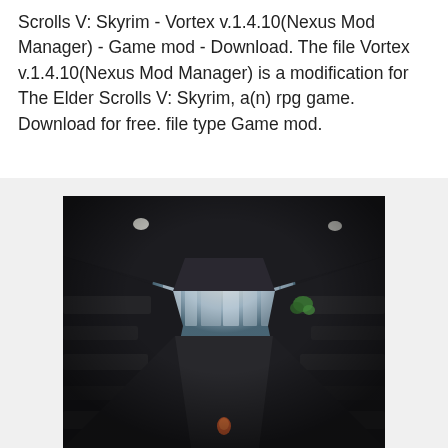Scrolls V: Skyrim - Vortex v.1.4.10(Nexus Mod Manager) - Game mod - Download. The file Vortex v.1.4.10(Nexus Mod Manager) is a modification for The Elder Scrolls V: Skyrim, a(n) rpg game. Download for free. file type Game mod.
[Figure (screenshot): A screenshot from The Elder Scrolls V: Skyrim game showing a first-person perspective corridor/tunnel view with dark walls on either side, an opening revealing a bright outdoor scene with blurred city-like structures in the background, and a small orange/red element at the bottom center. A small green plant is visible on the right side.]